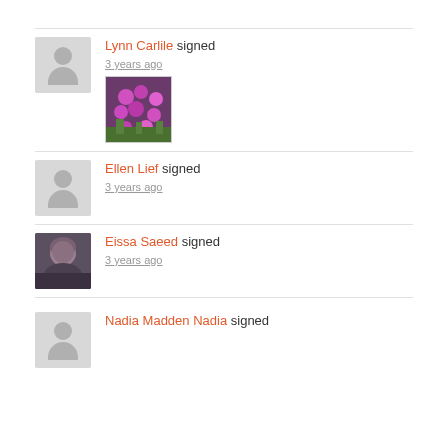Lynn Carlile signed
3 years ago
[Figure (photo): Photo of pink/purple flowers in a hanging basket]
Ellen Lief signed
3 years ago
Eissa Saeed signed
3 years ago
[Figure (photo): Photo of Eissa Saeed, a bald man]
Nadia Madden Nadia signed